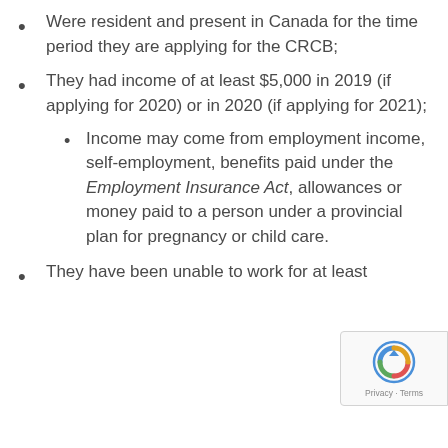Were resident and present in Canada for the time period they are applying for the CRCB;
They had income of at least $5,000 in 2019 (if applying for 2020) or in 2020 (if applying for 2021);
Income may come from employment income, self-employment, benefits paid under the Employment Insurance Act, allowances or money paid to a person under a provincial plan for pregnancy or child care.
They have been unable to work for at least